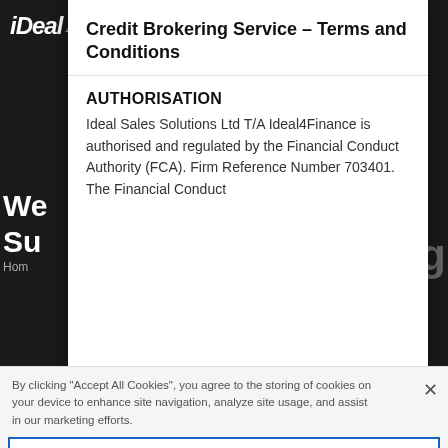[Figure (screenshot): Dark background website header with iDeal 4 Finance logo and partially visible webpage content behind a modal overlay]
Credit Brokering Service – Terms and Conditions
AUTHORISATION
Ideal Sales Solutions Ltd T/A Ideal4Finance is authorised and regulated by the Financial Conduct Authority (FCA). Firm Reference Number 703401. The Financial Conduct...
By clicking "Accept All Cookies", you agree to the storing of cookies on your device to enhance site navigation, analyze site usage, and assist in our marketing efforts.
Cookies Settings
Reject All